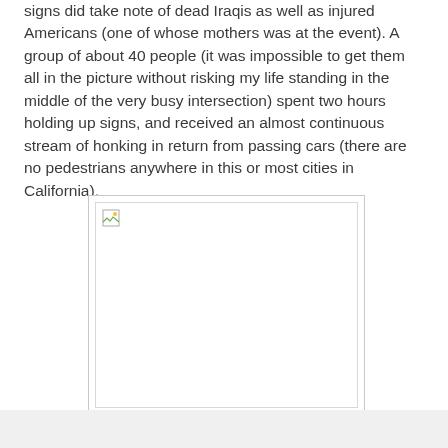signs did take note of dead Iraqis as well as injured Americans (one of whose mothers was at the event). A group of about 40 people (it was impossible to get them all in the picture without risking my life standing in the middle of the very busy intersection) spent two hours holding up signs, and received an almost continuous stream of honking in return from passing cars (there are no pedestrians anywhere in this or most cities in California).
[Figure (photo): A broken/missing image placeholder shown as a rectangle with a small broken image icon in the top-left corner.]